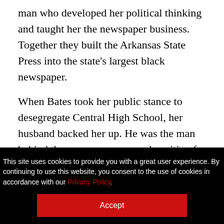man who developed her political thinking and taught her the newspaper business. Together they built the Arkansas State Press into the state's largest black newspaper.
When Bates took her public stance to desegregate Central High School, her husband backed her up. He was the man behind the woman, an unusual position for a man of the 1950s.
This site uses cookies to provide you with a great user experience. By continuing to use this website, you consent to the use of cookies in accordance with our Privacy Policy.